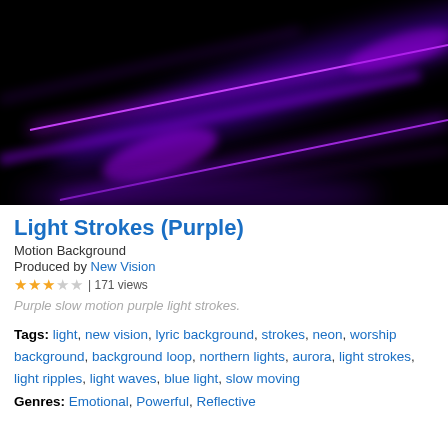[Figure (photo): Dark background with vivid purple glowing light strokes / beams sweeping diagonally across a black background, creating a motion blur effect.]
Light Strokes (Purple)
Motion Background
Produced by New Vision
★★★☆☆ | 171 views
Purple slow motion purple light strokes.
Tags: light, new vision, lyric background, strokes, neon, worship background, background loop, northern lights, aurora, light strokes, light ripples, light waves, blue light, slow moving
Genres: Emotional, Powerful, Reflective